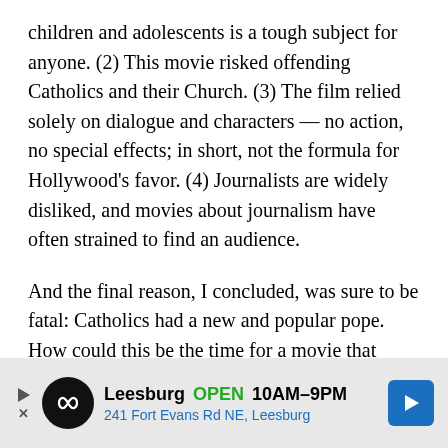children and adolescents is a tough subject for anyone. (2) This movie risked offending Catholics and their Church. (3) The film relied solely on dialogue and characters — no action, no special effects; in short, not the formula for Hollywood's favor. (4) Journalists are widely disliked, and movies about journalism have often strained to find an audience.
And the final reason, I concluded, was sure to be fatal: Catholics had a new and popular pope. How could this be the time for a movie that pointed an accusatory finger at the Church?
As if to prove that I knew nothing about the movie business, that is when everything came together. Mark Ruff...
[Figure (infographic): Advertisement banner: Leesburg OPEN 10AM-9PM, 241 Fort Evans Rd NE, Leesburg. Shows a circular black logo with infinity symbol, play button, close button, and a blue directional arrow sign.]